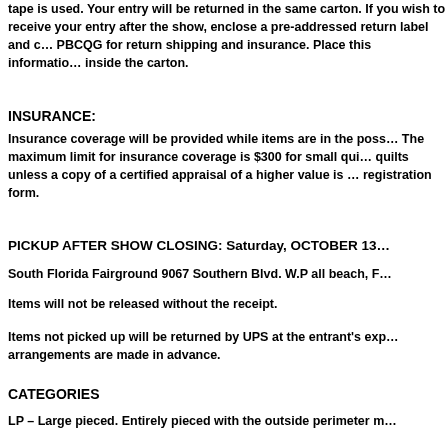tape is used. Your entry will be returned in the same carton. If you wish to receive your entry after the show, enclose a pre-addressed return label and check payable to PBCQG for return shipping and insurance. Place this information inside the carton.
INSURANCE:
Insurance coverage will be provided while items are in the possession of PBCQG. The maximum limit for insurance coverage is $300 for small quilts and $500 for large quilts unless a copy of a certified appraisal of a higher value is attached to the registration form.
PICKUP AFTER SHOW CLOSING:  Saturday, OCTOBER 13
South Florida Fairground 9067 Southern Blvd.  W.P all beach, FL
Items will not be released without the receipt.
Items not picked up will be returned by UPS at the entrant's expense unless arrangements are made in advance.
CATEGORIES
LP – Large pieced. Entirely pieced with the outside perimeter m